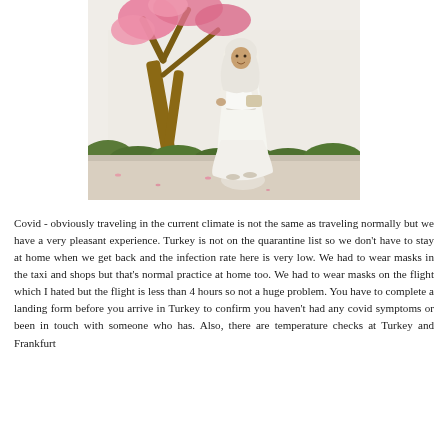[Figure (photo): A woman wearing a white hijab and long white dress/abaya stands on a sidewalk in front of a white wall with a flowering tree with pink blossoms above and green shrubs below. She is holding a small bag.]
Covid - obviously traveling in the current climate is not the same as traveling normally but we have a very pleasant experience. Turkey is not on the quarantine list so we don't have to stay at home when we get back and the infection rate here is very low. We had to wear masks in the taxi and shops but that's normal practice at home too. We had to wear masks on the flight which I hated but the flight is less than 4 hours so not a huge problem. You have to complete a landing form before you arrive in Turkey to confirm you haven't had any covid symptoms or been in touch with someone who has. Also, there are temperature checks at Turkey and Frankfurt airports.